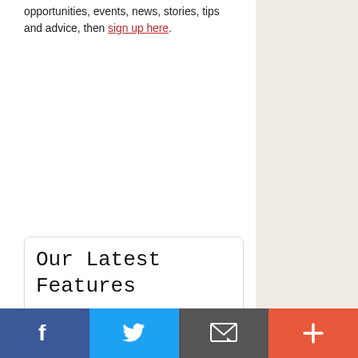opportunities, events, news, stories, tips and advice, then sign up here.
Our Latest Features
[Figure (other): Card thumbnail image placeholder with red squiggly underline]
[Figure (other): Social sharing bar with Facebook, Twitter, Email/envelope, and plus buttons]